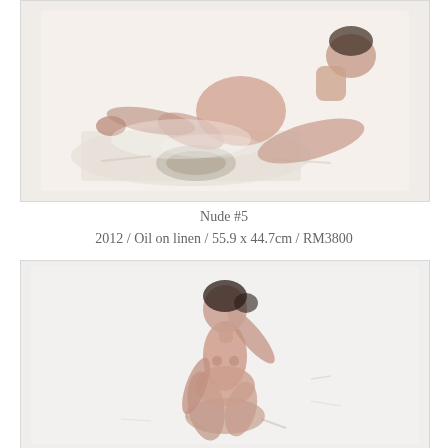[Figure (illustration): Oil painting of a reclining nude figure on a white/pale background, impressionistic loose brushwork, figure seated/reclining with legs bent, muted beige and skin tones, white cloth beneath figure]
Nude #5
2012 / Oil on linen / 55.9 x 44.7cm / RM3800
[Figure (illustration): Oil painting of a seated nude female figure on pale grey/white background, impressionistic loose brushwork, figure seated with one arm raised behind head, warm skin tones with reddish-brown paint strokes]